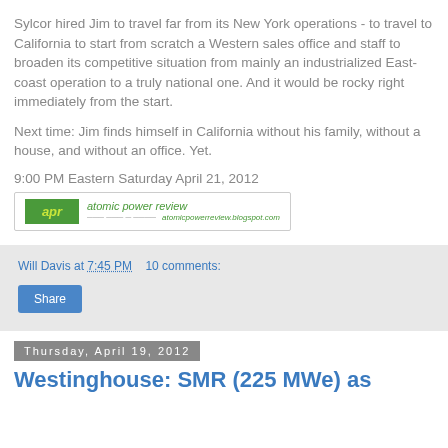Sylcor hired Jim to travel far from its New York operations - to travel to California to start from scratch a Western sales office and staff to broaden its competitive situation from mainly an industrialized East-coast operation to a truly national one. And it would be rocky right immediately from the start.
Next time: Jim finds himself in California without his family, without a house, and without an office. Yet.
9:00 PM Eastern Saturday April 21, 2012
[Figure (logo): Atomic Power Review blog logo with green box showing 'apr' in yellow italic text, and 'atomic power review' in green italic text with website URL below]
Will Davis at 7:45 PM   10 comments:
Share
Thursday, April 19, 2012
Westinghouse: SMR (225 MWe) as